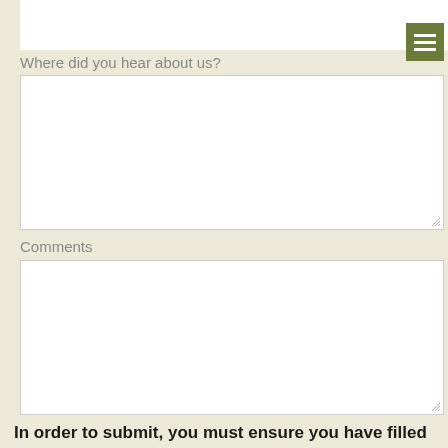[Figure (screenshot): White top bar with green hamburger menu button in top-right corner]
Where did you hear about us?
[Figure (screenshot): Empty white textarea input field for 'Where did you hear about us?' with resize handle]
Comments
[Figure (screenshot): Empty white textarea input field for 'Comments' with resize handle]
In order to submit, you must ensure you have filled in the form above and dropped the site location pin on the map